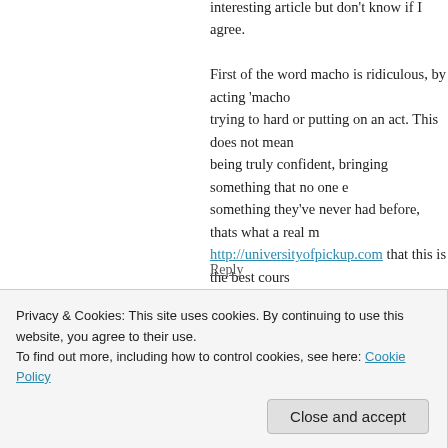interesting article but don't know if I agree. First of the word macho is ridiculous, by acting 'macho' trying to hard or putting on an act. This does not mean being truly confident, bringing something that no one e something they've never had before, thats what a real m http://universityofpickup.com that this is the best cours well over the years, be your best self and follow you ov you can be
Reply
nollia mcneil says:
July 16, 2015 at 6:11 am
Privacy & Cookies: This site uses cookies. By continuing to use this website, you agree to their use.
To find out more, including how to control cookies, see here: Cookie Policy